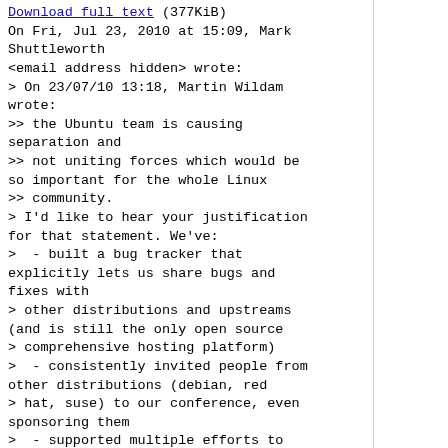Download full text (377KiB)
On Fri, Jul 23, 2010 at 15:09, Mark Shuttleworth
<email address hidden> wrote:
> On 23/07/10 13:18, Martin Wildam wrote:
>> the Ubuntu team is causing separation and
>> not uniting forces which would be so important for the whole Linux
>> community.
> I'd like to hear your justification for that statement. We've:
>  - built a bug tracker that explicitly lets us share bugs and fixes with
> other distributions and upstreams (and is still the only open source
> > comprehensive hosting platform)
>  - consistently invited people from other distributions (debian, red
> hat, suse) to our conference, even sponsoring them
>  - supported multiple efforts to converge on open standards across
> desktop environments and